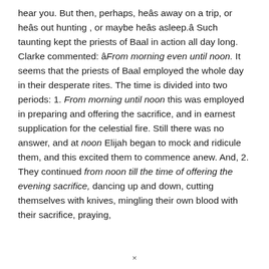hear you. But then, perhaps, heâs away on a trip, or heâs out hunting , or maybe heâs asleep.â Such taunting kept the priests of Baal in action all day long. Clarke commented: âFrom morning even until noon. It seems that the priests of Baal employed the whole day in their desperate rites. The time is divided into two periods: 1. From morning until noon this was employed in preparing and offering the sacrifice, and in earnest supplication for the celestial fire. Still there was no answer, and at noon Elijah began to mock and ridicule them, and this excited them to commence anew. And, 2. They continued from noon till the time of offering the evening sacrifice, dancing up and down, cutting themselves with knives, mingling their own blood with their sacrifice, praying,
×